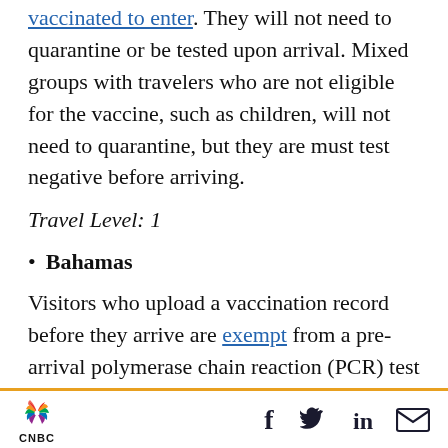vaccinated to enter. They will not need to quarantine or be tested upon arrival. Mixed groups with travelers who are not eligible for the vaccine, such as children, will not need to quarantine, but they are must test negative before arriving.
Travel Level: 1
Bahamas
Visitors who upload a vaccination record before they arrive are exempt from a pre-arrival polymerase chain reaction (PCR) test and a post-
CNBC logo with social media icons: Facebook, Twitter, LinkedIn, Email